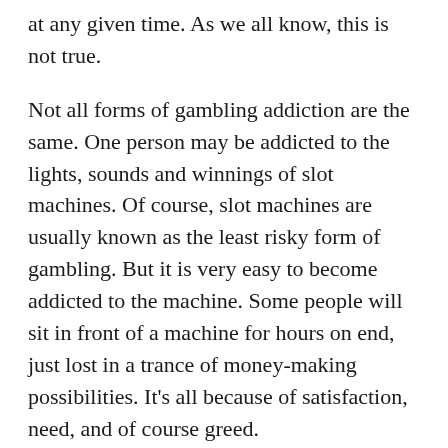at any given time. As we all know, this is not true.
Not all forms of gambling addiction are the same. One person may be addicted to the lights, sounds and winnings of slot machines. Of course, slot machines are usually known as the least risky form of gambling. But it is very easy to become addicted to the machine. Some people will sit in front of a machine for hours on end, just lost in a trance of money-making possibilities. It's all because of satisfaction, need, and of course greed.
Mungkinkah mesin slot menjadi jalur yang dapat mengarahkan penjudi yang tidak bersalah ke permainan yang lebih berisiko? Benar! Sungguh menakjubkan betapa cepatnya seseorang yang memainkan mesin slot favorit mereka dapat berkembang untuk memainkan permainan meja yang lebih membuat ketagihan. Saya